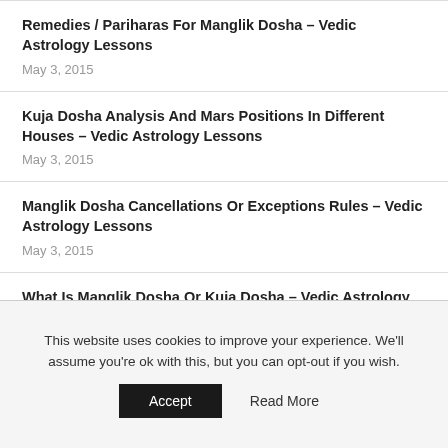Remedies / Pariharas For Manglik Dosha – Vedic Astrology Lessons
May 3, 2015
Kuja Dosha Analysis And Mars Positions In Different Houses – Vedic Astrology Lessons
May 3, 2015
Manglik Dosha Cancellations Or Exceptions Rules – Vedic Astrology Lessons
May 3, 2015
What Is Manglik Dosha Or Kuja Dosha – Vedic Astrology Lessons
May 3, 2015
Manglik Dosha Or Mangal Dosha Or Kuja Dosha Effects…
This website uses cookies to improve your experience. We'll assume you're ok with this, but you can opt-out if you wish.